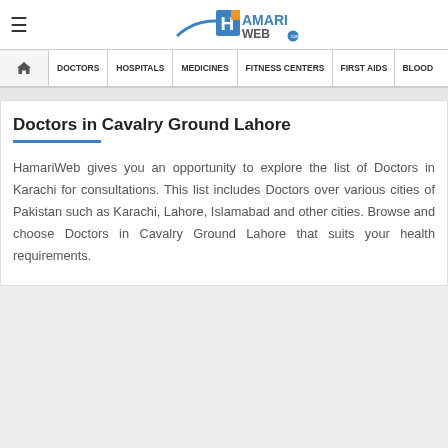HamariWeb — site header with navigation: HOME, DOCTORS, HOSPITALS, MEDICINES, FITNESS CENTERS, FIRST AIDS, BLOOD
Doctors in Cavalry Ground Lahore
HamariWeb gives you an opportunity to explore the list of Doctors in Karachi for consultations. This list includes Doctors over various cities of Pakistan such as Karachi, Lahore, Islamabad and other cities. Browse and choose Doctors in Cavalry Ground Lahore that suits your health requirements.